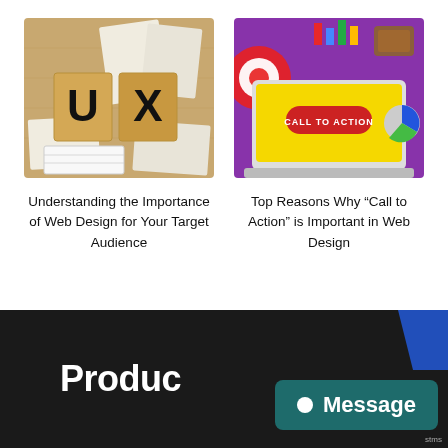[Figure (photo): Wooden blocks spelling UX with wireframe papers on a wooden surface]
Understanding the Importance of Web Design for Your Target Audience
[Figure (illustration): Laptop with yellow screen showing 'CALL TO ACTION' button, surrounded by colorful design icons on purple background]
Top Reasons Why “Call to Action” is Important in Web Design
[Figure (screenshot): Dark footer bar with white bold text 'Produc' and a teal message bubble overlay saying 'Message']